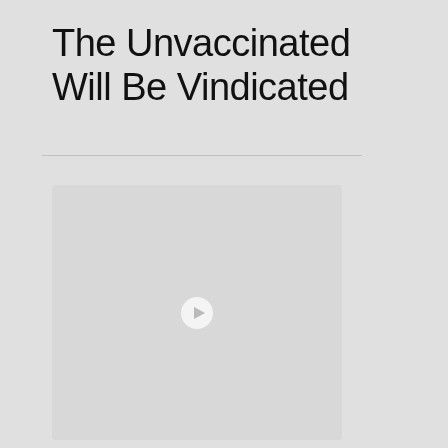The Unvaccinated Will Be Vindicated
[Figure (other): A light gray rectangular image placeholder with a circular play button icon in the center, suggesting an embedded video or media element.]